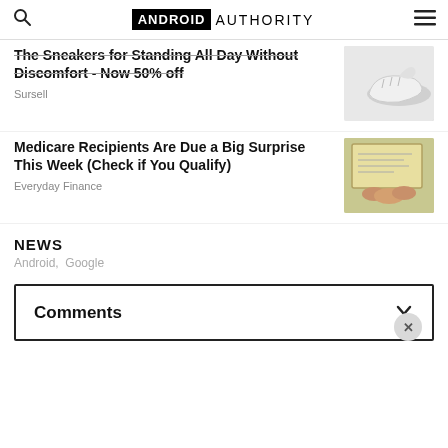ANDROID AUTHORITY
The Sneakers for Standing All Day Without Discomfort - Now 50% off
Sursell
[Figure (photo): White sneaker photo]
Medicare Recipients Are Due a Big Surprise This Week (Check if You Qualify)
Everyday Finance
[Figure (photo): Medicare check photo]
NEWS
Android, Google
Comments